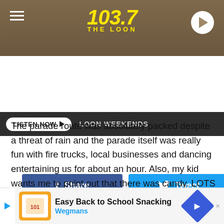103.7 THE LOON
LISTEN NOW  LOON WEEKENDS
[Figure (screenshot): Facebook Share button (blue) and Twitter Tweet button (cyan)]
The parade route was absolutely packed despite a threat of rain and the parade itself was really fun with fire trucks, local businesses and dancing entertaining us for about an hour. Also, my kid wants me to point out that there was candy. LOTS of candy.

After the parade we packed up our folding chairs and headed to Sartell's City Hall for a really awesome setup that featured multiple bounce houses, face painting, balloon animals, food and more! One really nice touch was having MULTIPLE booths  is just
[Figure (screenshot): Advertisement banner: Easy Back to School Snacking - Wegmans]